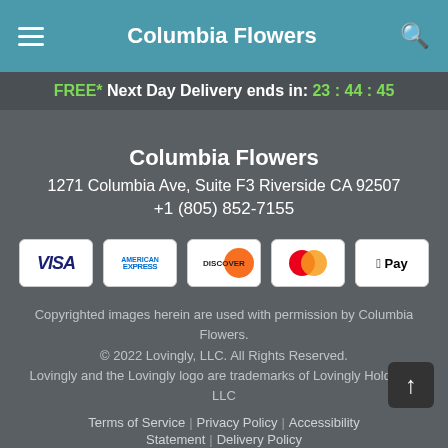Columbia Flowers
FREE* Next Day Delivery ends in: 23 : 44 : 45
Columbia Flowers
1271 Columbia Ave, Suite F3 Riverside CA 92507
+1 (805) 852-7155
[Figure (infographic): Payment method icons: Visa, American Express, Discover, MasterCard, Apple Pay]
Copyrighted images herein are used with permission by Columbia Flowers.
© 2022 Lovingly, LLC. All Rights Reserved.
Lovingly and the Lovingly logo are trademarks of Lovingly Holdings, LLC
Terms of Service | Privacy Policy | Accessibility Statement | Delivery Policy